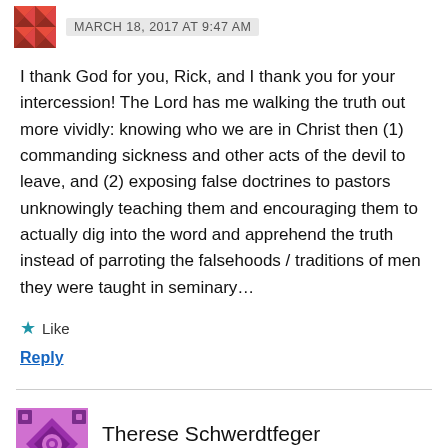MARCH 18, 2017 AT 9:47 AM
I thank God for you, Rick, and I thank you for your intercession! The Lord has me walking the truth out more vividly: knowing who we are in Christ then (1) commanding sickness and other acts of the devil to leave, and (2) exposing false doctrines to pastors unknowingly teaching them and encouraging them to actually dig into the word and apprehend the truth instead of parroting the falsehoods / traditions of men they were taught in seminary...
Like
Reply
Therese Schwerdtfeger MARCH 19, 2017 AT 8:04 AM